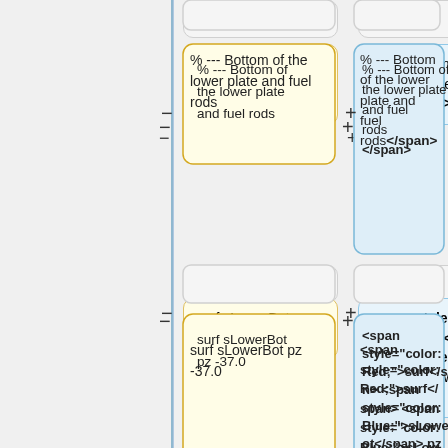[Figure (flowchart): A diff/comparison flowchart showing two columns of code/comment blocks. Left column has yellow cards with plain text content; right column has blue cards with HTML-annotated content. Pairs are connected by minus/plus symbols on a vertical center line. Three pairs visible: (1) '% --- Bottom of the lower plate and fuel rods' vs HTML span version, (2) 'surf sLowerBot pz -37.0' vs colored span version, (3) '% --- Top of the lower plate' vs green span version. Gray empty connector cards appear between pairs.]